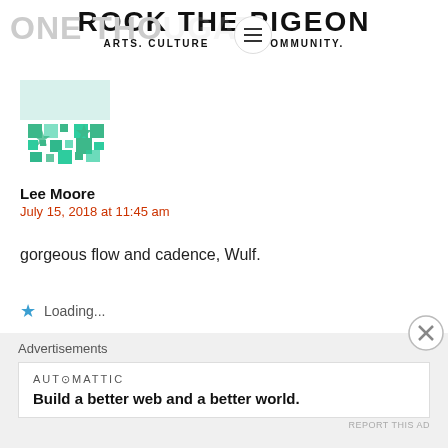ROCK THE PIGEON
ARTS. CULTURE . S. COMMUNITY.
[Figure (illustration): Green and teal pixelated/geometric avatar icon for user Lee Moore]
ONE THOUGT
Lee Moore
July 15, 2018 at 11:45 am
gorgeous flow and cadence, Wulf.
⭐ Loading...
REPLY
Advertisements
AUTOMATTIC
Build a better web and a better world.